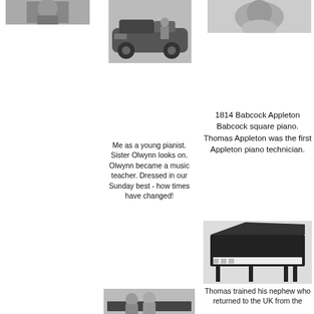[Figure (photo): Black and white photo of a person, cropped at top left]
[Figure (photo): Black and white photo of a person standing next to an old car]
[Figure (photo): Black and white photo, partial view, top right]
Me as a young pianist. Sister Olwynn looks on. Olwynn became a music teacher. Dressed in our Sunday best - how times have changed!
1814 Babcock Appleton Babcock square piano. Thomas Appleton was the first Appleton piano technician.
[Figure (photo): Black and white photo of an 1814 Babcock Appleton square piano]
Thomas trained his nephew who returned to the UK from the
[Figure (photo): Black and white photo of children at a piano]